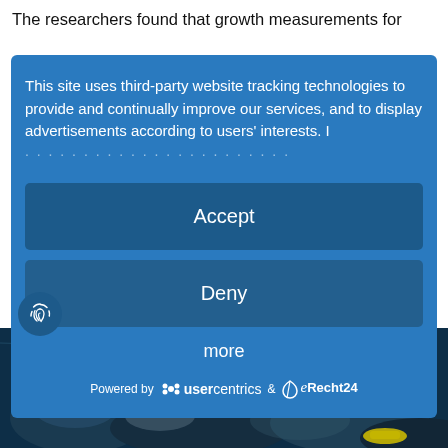The researchers found that growth measurements for
[Figure (screenshot): Cookie consent overlay dialog with blue background. Contains text: 'This site uses third-party website tracking technologies to provide and continually improve our services, and to display advertisements according to users' interests. I [more text obscured by dots]'. Has two buttons: 'Accept' and 'Deny'. Below buttons is a 'more' link. Footer shows 'Powered by usercentrics & eRecht24'.]
[Figure (photo): Underwater photograph showing a diver or marine scene in dark blue water with coral/rock formations and a yellow object visible at bottom right.]